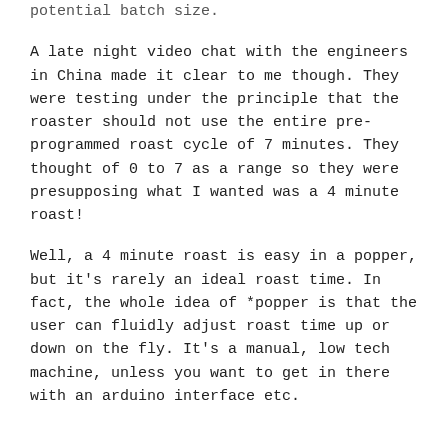potential batch size.
A late night video chat with the engineers in China made it clear to me though. They were testing under the principle that the roaster should not use the entire pre-programmed roast cycle of 7 minutes. They thought of 0 to 7 as a range so they were presupposing what I wanted was a 4 minute roast!
Well, a 4 minute roast is easy in a popper, but it's rarely an ideal roast time. In fact, the whole idea of *popper is that the user can fluidly adjust roast time up or down on the fly. It's a manual, low tech machine, unless you want to get in there with an arduino interface etc.